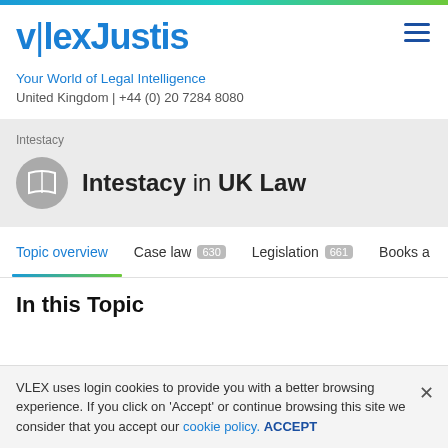[Figure (logo): vLexJustis logo with blue text and vertical pipe separator]
Your World of Legal Intelligence
United Kingdom | +44 (0) 20 7284 8080
Intestacy
Intestacy in UK Law
Topic overview
Case law 630
Legislation 661
Books a
In this Topic
VLEX uses login cookies to provide you with a better browsing experience. If you click on 'Accept' or continue browsing this site we consider that you accept our cookie policy. ACCEPT